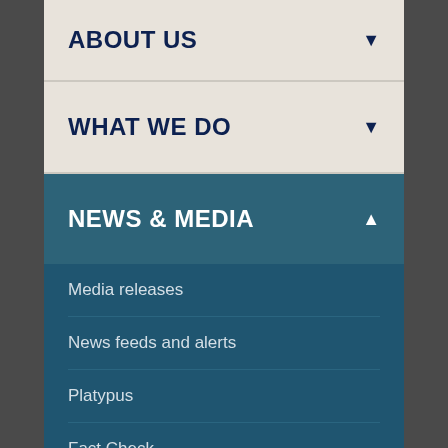ABOUT US
WHAT WE DO
NEWS & MEDIA
Media releases
News feeds and alerts
Platypus
Fact Check
National speeches
About AFP National Media
Museum